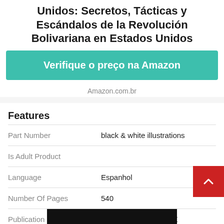Unidos: Secretos, Tácticas y Escándalos de la Revolución Bolivariana en Estados Unidos
Verifique o preço na Amazon
Amazon.com.br
Features
| Feature | Value |
| --- | --- |
| Part Number | black & white illustrations |
| Is Adult Product |  |
| Language | Espanhol |
| Number Of Pages | 540 |
| Publication Date | 2014-03-07T00:00:01Z |